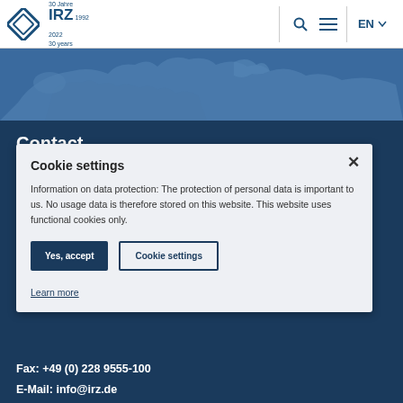IRZ 30 Jahre 1992 2022 30 years | Search | Menu | EN
[Figure (map): Blue map banner showing Europe outline]
Contact
Office Bonn
Cookie settings

Information on data protection: The protection of personal data is important to us. No usage data is therefore stored on this website. This website uses functional cookies only.

Yes, accept | Cookie settings

Learn more
Fax: +49 (0) 228 9555-100
E-Mail: info@irz.de